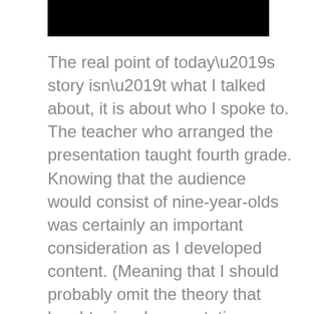[Figure (other): Black rectangular bar at top of page]
The real point of today’s story isn’t what I talked about, it is about who I spoke to. The teacher who arranged the presentation taught fourth grade. Knowing that the audience would consist of nine-year-olds was certainly an important consideration as I developed content. (Meaning that I should probably omit the theory that laughter is a homeostatic mechanism through which psychological tension is reduced.) The first rule of public speaking is know your audience.
A week before the presentation, the teacher